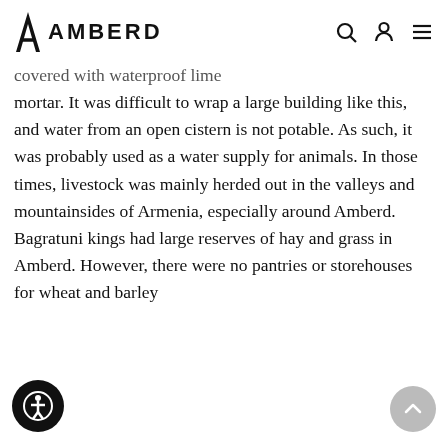AMBERD
covered with waterproof lime mortar. It was difficult to wrap a large building like this, and water from an open cistern is not potable. As such, it was probably used as a water supply for animals. In those times, livestock was mainly herded out in the valleys and mountainsides of Armenia, especially around Amberd. Bagratuni kings had large reserves of hay and grass in Amberd. However, there were no pantries or storehouses for wheat and barley